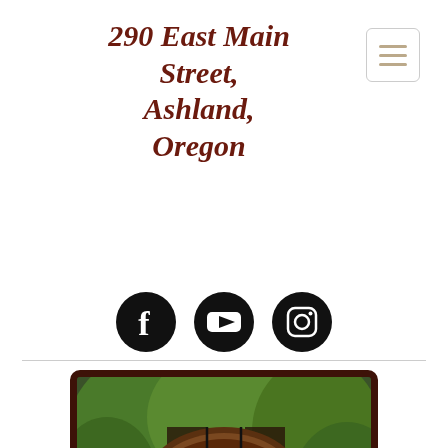290 East Main Street, Ashland, Oregon
[Figure (other): Three social media icons: Facebook, YouTube, Instagram — black circles with white icons]
[Figure (photo): Photo of Bloomsbury Blends cafe garden patio with wooden sign reading 'Bloomsbury Blends - Coffee, Food, Wine' in an oval brown frame with decorative elements, surrounded by lush green trees and garden furniture]